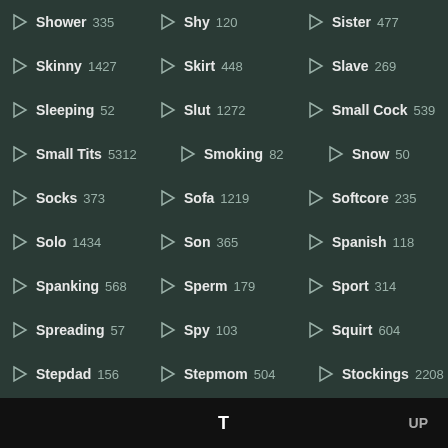Shower 335 | Shy 120 | Sister 477
Skinny 1427 | Skirt 448 | Slave 269
Sleeping 52 | Slut 1272 | Small Cock 539
Small Tits 5312 | Smoking 82 | Snow 50
Socks 373 | Sofa 1219 | Softcore 235
Solo 1434 | Son 365 | Spanish 118
Spanking 568 | Sperm 179 | Sport 314
Spreading 57 | Spy 103 | Squirt 604
Stepdad 156 | Stepmom 504 | Stockings 2208
Strapon 199
T   UP